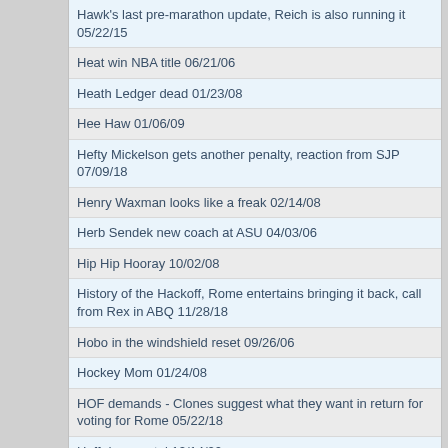Hawk's last pre-marathon update, Reich is also running it 05/22/15
Heat win NBA title 06/21/06
Heath Ledger dead 01/23/08
Hee Haw 01/06/09
Hefty Mickelson gets another penalty, reaction from SJP 07/09/18
Henry Waxman looks like a freak 02/14/08
Herb Sendek new coach at ASU 04/03/06
Hip Hip Hooray 10/02/08
History of the Hackoff, Rome entertains bringing it back, call from Rex in ABQ 11/28/18
Hobo in the windshield reset 09/26/06
Hockey Mom 01/24/08
HOF demands - Clones suggest what they want in return for voting for Rome 05/22/18
Hoff does metal 12/14/20
Hole in one Green 05/03/05
Holly Hornbeak suing Hank Williams 04/05/06
Home Brew guy 09/24/08
Home Run Derby 07/10/06
Homeless people wait for ps3 11/15/06
Homelessness is not funny 02/22/08
Hong-Chih Kuo Styles His Jack 06/13/07